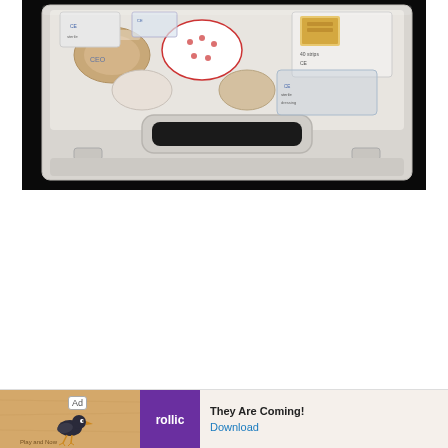[Figure (photo): A first aid kit box photographed from above, showing an open white plastic case with a handle/latch in the center. Inside the kit are various medical supplies including bandage rolls, wrapped gauze, strip bandages in a box labeled '40 strips', and other packaged medical items. The background is black.]
[Figure (screenshot): Advertisement banner at bottom of page. Left section shows a wooden/tan colored background with a bird illustration. Center section is purple with 'rollic' text in white. Right section shows text 'They Are Coming!' and a blue 'Download' link. Has 'Ad' label badge.]